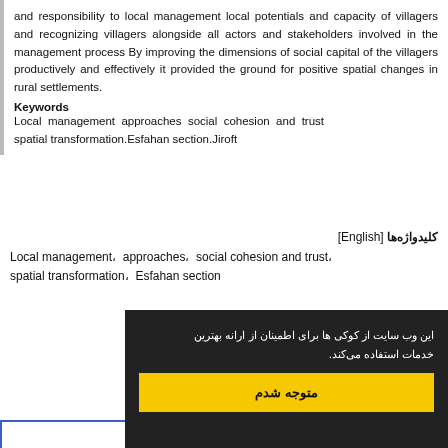and responsibility to local management local potentials and capacity of villagers and recognizing villagers alongside all actors and stakeholders involved in the management process By improving the dimensions of social capital of the villagers productively and effectively it provided the ground for positive spatial changes in rural settlements.
Keywords
Local management approaches, social cohesion and trust, spatial transformation, Esfahan section, Jiroft
کلیدواژه‌ها [English]
Local management، approaches، social cohesion and trust، spatial transformation، Esfahan section
این وب سایت از کوکی ها برای اطمینان از ارانه بهترین خدمات استفاده می‌کند.
متوجه شدم